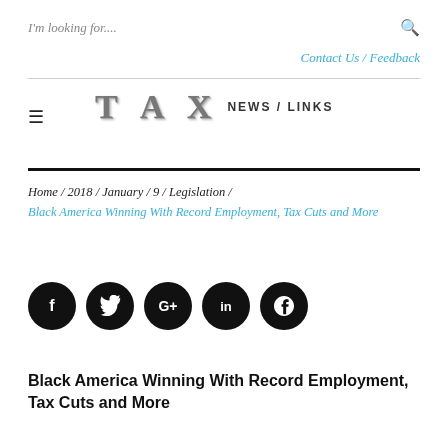I'm looking for....
Contact Us / Feedback
[Figure (logo): TAX NEWS / LINKS logo with stylized letter block font for TAX and sans-serif for NEWS / LINKS]
Home / 2018 / January / 9 / Legislation / Black America Winning With Record Employment, Tax Cuts and More
[Figure (infographic): Row of 5 black circular social media share buttons: Facebook (f), Twitter (bird), Google+ (G+), LinkedIn (in), Pinterest (P)]
Black America Winning With Record Employment, Tax Cuts and More